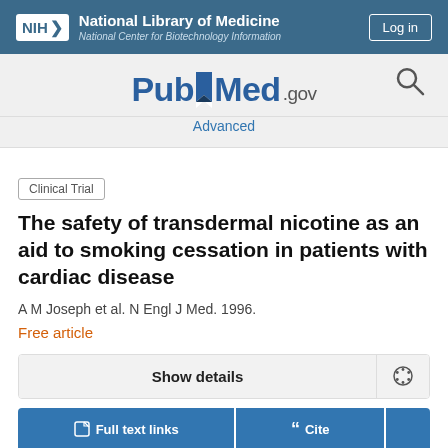NIH National Library of Medicine — National Center for Biotechnology Information
[Figure (logo): PubMed.gov logo with bookmark icon and search icon]
Advanced
Clinical Trial
The safety of transdermal nicotine as an aid to smoking cessation in patients with cardiac disease
A M Joseph et al. N Engl J Med. 1996.
Free article
Show details
Full text links
Cite